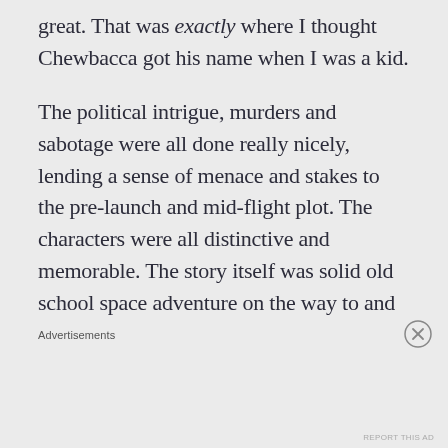great. That was exactly where I thought Chewbacca got his name when I was a kid.
The political intrigue, murders and sabotage were all done really nicely, lending a sense of menace and stakes to the pre-launch and mid-flight plot. The characters were all distinctive and memorable. The story itself was solid old school space adventure on the way to and
Advertisements